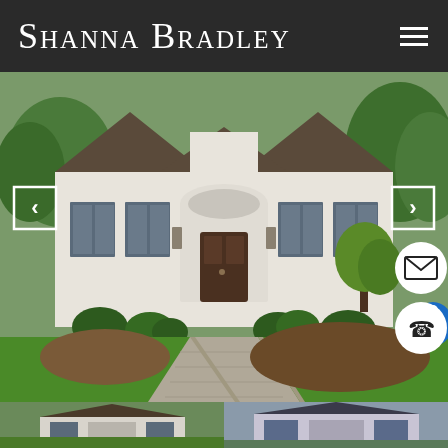Shanna Bradley
[Figure (photo): Exterior photograph of a white traditional-style house with dark wood front door under arched portico, manicured shrubs, green lawn, and curved stone walkway leading to the entrance. Navigation arrows on left and right sides overlay the image. Accessibility, email, and phone contact buttons visible on the right side.]
[Figure (photo): Thumbnail strip showing two smaller property photos at the bottom of the page.]